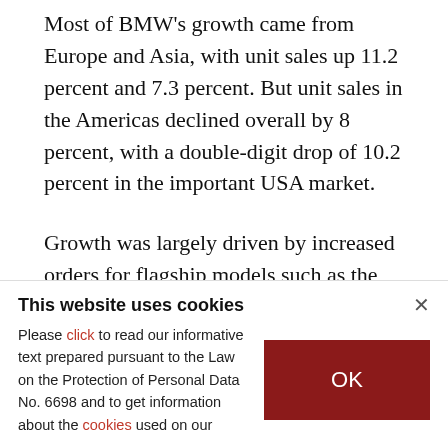Most of BMW's growth came from Europe and Asia, with unit sales up 11.2 percent and 7.3 percent. But unit sales in the Americas declined overall by 8 percent, with a double-digit drop of 10.2 percent in the important USA market.
Growth was largely driven by increased orders for flagship models such as the BMW 7 series.
LAST UPDATE: OCT 20, 2017 5:10 PM
This website uses cookies
Please click to read our informative text prepared pursuant to the Law on the Protection of Personal Data No. 6698 and to get information about the cookies used on our